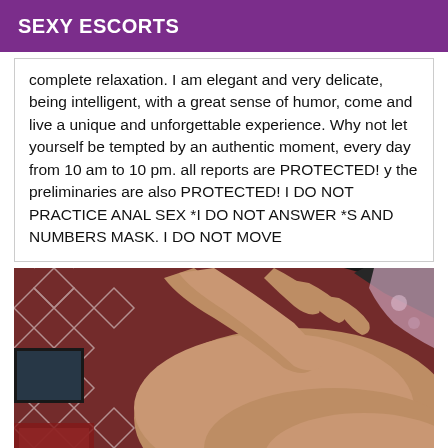SEXY ESCORTS
complete relaxation. I am elegant and very delicate, being intelligent, with a great sense of humor, come and live a unique and unforgettable experience. Why not let yourself be tempted by an authentic moment, every day from 10 am to 10 pm. all reports are PROTECTED! y the preliminaries are also PROTECTED! I DO NOT PRACTICE ANAL SEX *I DO NOT ANSWER *S AND NUMBERS MASK. I DO NOT MOVE
[Figure (photo): Close-up photo of a person lying on a bed with patterned bedding, showing skin and partial undergarment.]